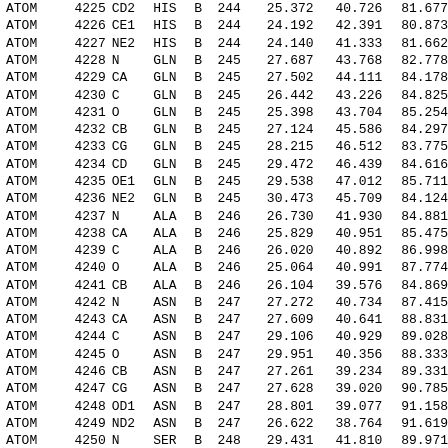| Record | Serial | Name | ResName | Chain | ResSeq | X | Y | Z |
| --- | --- | --- | --- | --- | --- | --- | --- | --- |
| ATOM | 4225 | CD2 | HIS | B | 244 | 25.372 | 40.726 | 81.677 |
| ATOM | 4226 | CE1 | HIS | B | 244 | 24.192 | 42.391 | 80.873 |
| ATOM | 4227 | NE2 | HIS | B | 244 | 24.140 | 41.333 | 81.662 |
| ATOM | 4228 | N | GLN | B | 245 | 27.687 | 43.768 | 82.778 |
| ATOM | 4229 | CA | GLN | B | 245 | 27.502 | 44.111 | 84.178 |
| ATOM | 4230 | C | GLN | B | 245 | 26.442 | 43.226 | 84.825 |
| ATOM | 4231 | O | GLN | B | 245 | 25.398 | 43.704 | 85.254 |
| ATOM | 4232 | CB | GLN | B | 245 | 27.124 | 45.586 | 84.297 |
| ATOM | 4233 | CG | GLN | B | 245 | 28.215 | 46.512 | 83.775 |
| ATOM | 4234 | CD | GLN | B | 245 | 29.472 | 46.439 | 84.616 |
| ATOM | 4235 | OE1 | GLN | B | 245 | 29.538 | 47.012 | 85.711 |
| ATOM | 4236 | NE2 | GLN | B | 245 | 30.473 | 45.709 | 84.124 |
| ATOM | 4237 | N | ALA | B | 246 | 26.730 | 41.930 | 84.881 |
| ATOM | 4238 | CA | ALA | B | 246 | 25.829 | 40.951 | 85.475 |
| ATOM | 4239 | C | ALA | B | 246 | 26.020 | 40.892 | 86.998 |
| ATOM | 4240 | O | ALA | B | 246 | 25.064 | 40.991 | 87.774 |
| ATOM | 4241 | CB | ALA | B | 246 | 26.104 | 39.576 | 84.869 |
| ATOM | 4242 | N | ASN | B | 247 | 27.272 | 40.734 | 87.415 |
| ATOM | 4243 | CA | ASN | B | 247 | 27.609 | 40.641 | 88.831 |
| ATOM | 4244 | C | ASN | B | 247 | 29.106 | 40.929 | 89.028 |
| ATOM | 4245 | O | ASN | B | 247 | 29.951 | 40.356 | 88.333 |
| ATOM | 4246 | CB | ASN | B | 247 | 27.261 | 39.234 | 89.331 |
| ATOM | 4247 | CG | ASN | B | 247 | 27.628 | 39.020 | 90.785 |
| ATOM | 4248 | OD1 | ASN | B | 247 | 28.801 | 39.077 | 91.158 |
| ATOM | 4249 | ND2 | ASN | B | 247 | 26.622 | 38.764 | 91.619 |
| ATOM | 4250 | N | SER | B | 248 | 29.431 | 41.810 | 89.971 |
| ATOM | 4251 | CA | SER | B | 248 | 30.824 | 42.167 | 90.242 |
| ATOM | 4252 | C | SER | B | 248 | 31.699 | 40.949 | 90.559 |
| ATOM | 4253 | O | SER | B | 248 | 32.836 | 40.848 | 90.088 |
| ATOM | 4254 | CB | SER | B | 248 | 30.888 | 43.170 | 91.384 |